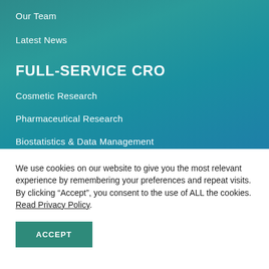Our Team
Latest News
FULL-SERVICE CRO
Cosmetic Research
Pharmaceutical Research
Biostatistics & Data Management
We use cookies on our website to give you the most relevant experience by remembering your preferences and repeat visits. By clicking “Accept”, you consent to the use of ALL the cookies. Read Privacy Policy.
ACCEPT